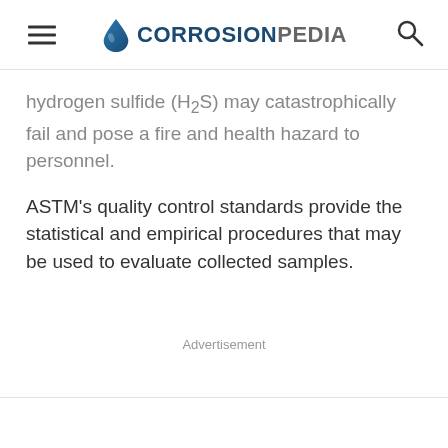CORROSIONPEDIA
hydrogen sulfide (H₂S) may catastrophically fail and pose a fire and health hazard to personnel.
ASTM's quality control standards provide the statistical and empirical procedures that may be used to evaluate collected samples.
Advertisement